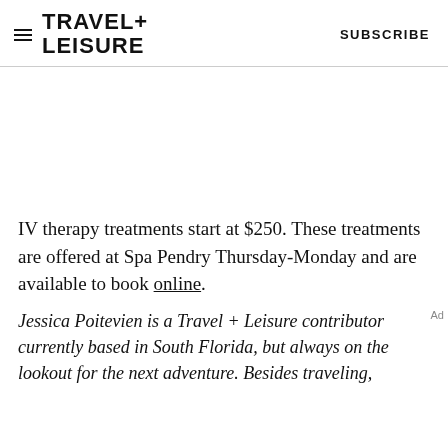TRAVEL+ LEISURE   SUBSCRIBE
IV therapy treatments start at $250. These treatments are offered at Spa Pendry Thursday-Monday and are available to book online.
Jessica Poitevien is a Travel + Leisure contributor currently based in South Florida, but always on the lookout for the next adventure. Besides traveling,